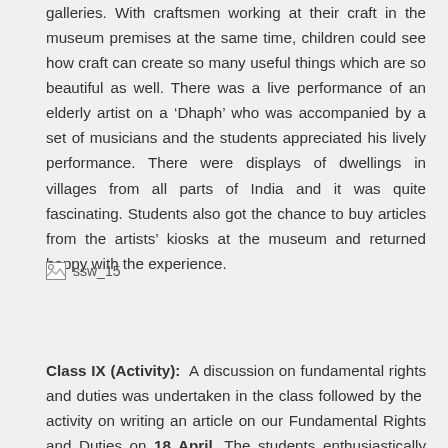galleries. With craftsmen working at their craft in the museum premises at the same time, children could see how craft can create so many useful things which are so beautiful as well. There was a live performance of an elderly artist on a ‘Dhaph’ who was accompanied by a set of musicians and the students appreciated his lively performance. There were displays of dwellings in villages from all parts of India and it was quite fascinating. Students also got the chance to buy articles from the artists’ kiosks at the museum and returned happy with the experience.
[Figure (photo): Placeholder image labeled ssw_15]
Class IX (Activity): A discussion on fundamental rights and duties was undertaken in the class followed by the activity on writing an article on our Fundamental Rights and Duties on 18 April. The students enthusiastically participated in the same. At the end of the activity the students were sensitised about the